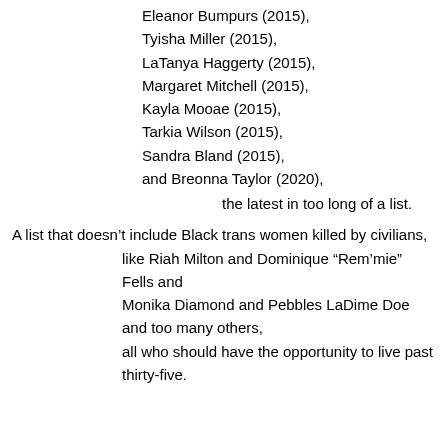Eleanor Bumpurs (2015),
Tyisha Miller (2015),
LaTanya Haggerty (2015),
Margaret Mitchell (2015),
Kayla Mooae (2015),
Tarkia Wilson (2015),
Sandra Bland (2015),
and Breonna Taylor (2020),
the latest in too long of a list.
A list that doesn't include Black trans women killed by civilians,
like Riah Milton and Dominique “Rem’mie” Fells and Monika Diamond and Pebbles LaDime Doe and too many others,
all who should have the opportunity to live past thirty-five.